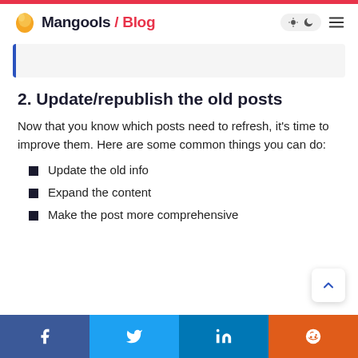Mangools / Blog
2. Update/republish the old posts
Now that you know which posts need to refresh, it's time to improve them. Here are some common things you can do:
Update the old info
Expand the content
Make the post more comprehensive
Facebook | Twitter | LinkedIn | Reddit